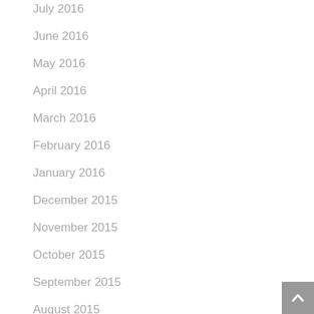July 2016
June 2016
May 2016
April 2016
March 2016
February 2016
January 2016
December 2015
November 2015
October 2015
September 2015
August 2015
July 2015
June 2015